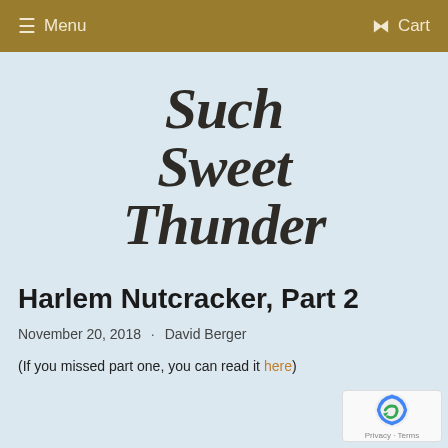Menu  Cart
[Figure (logo): Such Sweet Thunder logo in large bold italic serif font]
Harlem Nutcracker, Part 2
November 20, 2018  •  David Berger
(If you missed part one, you can read it here)